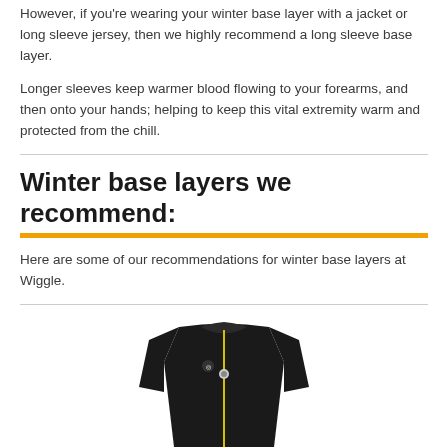However, if you're wearing your winter base layer with a jacket or long sleeve jersey, then we highly recommend a long sleeve base layer.
Longer sleeves keep warmer blood flowing to your forearms, and then onto your hands; helping to keep this vital extremity warm and protected from the chill.
Winter base layers we recommend:
Here are some of our recommendations for winter base layers at Wiggle.
[Figure (photo): Black long sleeve cycling base layer jacket with yellow zip detail, displayed from the front]